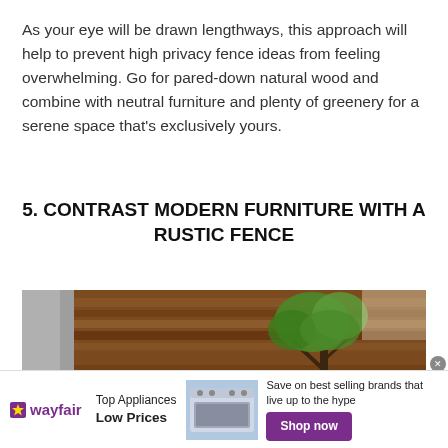As your eye will be drawn lengthways, this approach will help to prevent high privacy fence ideas from feeling overwhelming. Go for pared-down natural wood and combine with neutral furniture and plenty of greenery for a serene space that's exclusively yours.
5. CONTRAST MODERN FURNITURE WITH A RUSTIC FENCE
[Figure (photo): Outdoor scene showing a rustic horizontal wooden fence with warm brown tones, a small tree with green leaves on the right side, and a partial view of a structure on the left.]
[Figure (infographic): Wayfair advertisement banner: Top Appliances Low Prices with an image of a stove/range, text 'Save on best selling brands that live up to the hype' and a purple 'Shop now' button.]